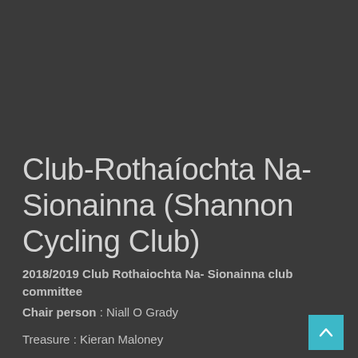Club-Rothaíochta Na-Sionainna (Shannon Cycling Club)
2018/2019 Club Rothaiochta Na- Sionainna club committee
Chair person : Niall O Grady
Treasure : Kieran Maloney